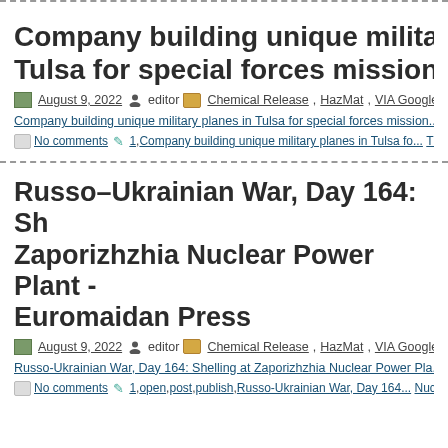Company building unique military planes in Tulsa for special forces missions – T
August 9, 2022  editor  Chemical Release, HazMat, VIA Google News
Company building unique military planes in Tulsa for special forces missions...
No comments  1, Company building unique military planes in Tulsa for... Tulsa World, open, post, publish
Russo-Ukrainian War, Day 164: Shelling at Zaporizhzhia Nuclear Power Plant - Euromaidan Press
August 9, 2022  editor  Chemical Release, HazMat, VIA Google News
Russo-Ukrainian War, Day 164: Shelling at Zaporizhzhia Nuclear Power Pla...
No comments  1, open, post, publish, Russo-Ukrainian War, Day 164... Nuclear Power Plant - Euromaidan Press